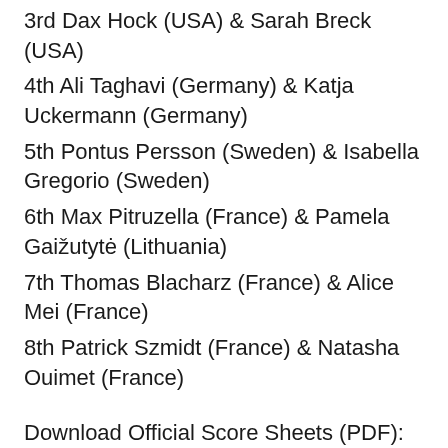3rd Dax Hock (USA) & Sarah Breck (USA)
4th Ali Taghavi (Germany) & Katja Uckermann (Germany)
5th Pontus Persson (Sweden) & Isabella Gregorio (Sweden)
6th Max Pitruzella (France) & Pamela Gaižutytė (Lithuania)
7th Thomas Blacharz (France) & Alice Mei (France)
8th Patrick Szmidt (France) & Natasha Ouimet (France)
Download Official Score Sheets (PDF):
Preliminaries | Finals
JAZZ ROOTS TEAM SHOWCASE